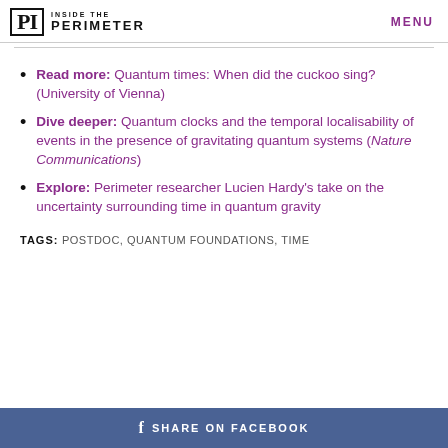INSIDE THE PERIMETER | MENU
Read more: Quantum times: When did the cuckoo sing? (University of Vienna)
Dive deeper: Quantum clocks and the temporal localisability of events in the presence of gravitating quantum systems (Nature Communications)
Explore: Perimeter researcher Lucien Hardy's take on the uncertainty surrounding time in quantum gravity
TAGS: POSTDOC, QUANTUM FOUNDATIONS, TIME
SHARE ON FACEBOOK